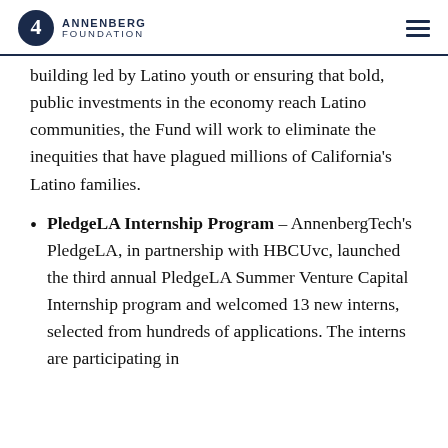ANNENBERG FOUNDATION
building led by Latino youth or ensuring that bold, public investments in the economy reach Latino communities, the Fund will work to eliminate the inequities that have plagued millions of California's Latino families.
PledgeLA Internship Program – AnnenbergTech's PledgeLA, in partnership with HBCUvc, launched the third annual PledgeLA Summer Venture Capital Internship program and welcomed 13 new interns, selected from hundreds of applications. The interns are participating in